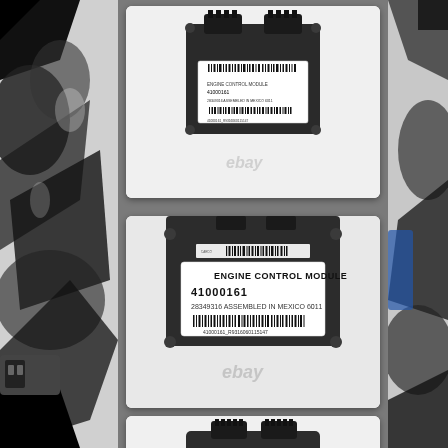[Figure (photo): eBay product listing showing Engine Control Module 41000161 assembled in Mexico - top view, top photo]
[Figure (photo): eBay product listing showing Engine Control Module 41000161 assembled in Mexico - label close-up, middle photo. Label reads: ENGINE CONTROL MODULE 41000161, 28349316 ASSEMBLED IN MEXICO 6011, 41000161_R9316060115147]
[Figure (photo): eBay product listing showing Engine Control Module 41000161 - bottom partial photo]